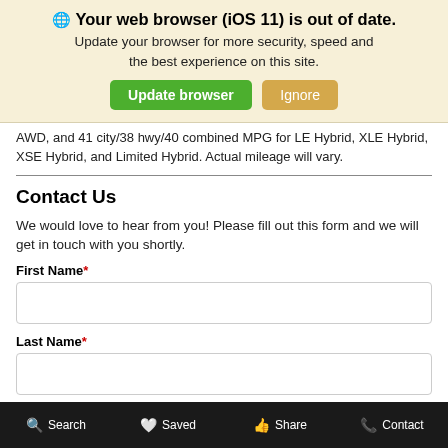[Figure (screenshot): Browser update warning banner with globe icon, bold title 'Your web browser (iOS 11) is out of date.', subtitle text, and two buttons: 'Update browser' (green) and 'Ignore' (tan/gold)]
AWD, and 41 city/38 hwy/40 combined MPG for LE Hybrid, XLE Hybrid, XSE Hybrid, and Limited Hybrid. Actual mileage will vary.
Contact Us
We would love to hear from you! Please fill out this form and we will get in touch with you shortly.
First Name*
Last Name*
Search   Saved   Share   Contact